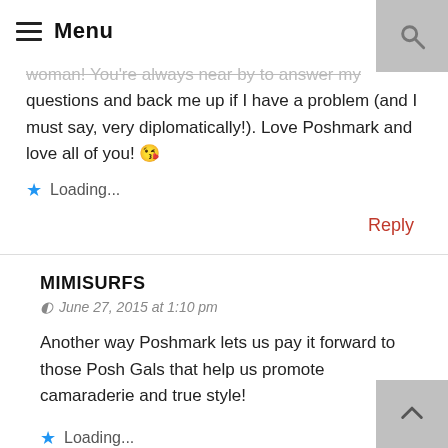Menu
woman! You're always near by to answer my questions and back me up if I have a problem (and I must say, very diplomatically!). Love Poshmark and love all of you! 😘
Loading...
Reply
MIMISURFS
June 27, 2015 at 1:10 pm
Another way Poshmark lets us pay it forward to those Posh Gals that help us promote camaraderie and true style!
Loading...